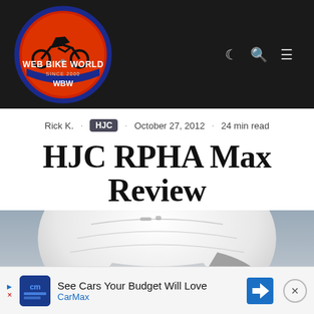[Figure (logo): Web Bike World logo: orange-red circle with motorcycle silhouette, blue border ring, text 'WEB BIKE WORLD SINCE 2000 WBW' on dark background header]
Rick K.  ·  HJC  ·  October 27, 2012  ·  24 min read
HJC RPHA Max Review
[Figure (photo): Close-up photo of a white HJC RPHA Max helmet, showing the top and upper portion of the helmet shell against a light grey background]
[Figure (other): CarMax advertisement banner: 'See Cars Your Budget Will Love' with CarMax logo and blue navigation arrow icon]